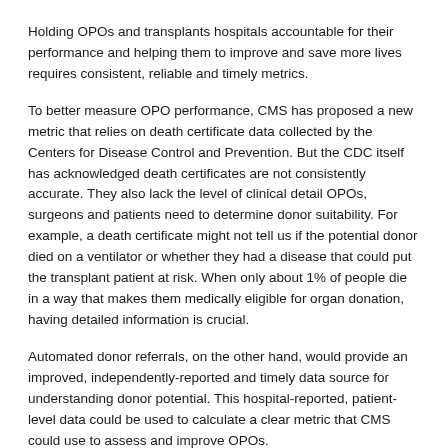Holding OPOs and transplants hospitals accountable for their performance and helping them to improve and save more lives requires consistent, reliable and timely metrics.
To better measure OPO performance, CMS has proposed a new metric that relies on death certificate data collected by the Centers for Disease Control and Prevention. But the CDC itself has acknowledged death certificates are not consistently accurate. They also lack the level of clinical detail OPOs, surgeons and patients need to determine donor suitability. For example, a death certificate might not tell us if the potential donor died on a ventilator or whether they had a disease that could put the transplant patient at risk. When only about 1% of people die in a way that makes them medically eligible for organ donation, having detailed information is crucial.
Automated donor referrals, on the other hand, would provide an improved, independently-reported and timely data source for understanding donor potential. This hospital-reported, patient-level data could be used to calculate a clear metric that CMS could use to assess and improve OPOs.
We also need to improve the process of getting the right organ to the right patient at the right time.